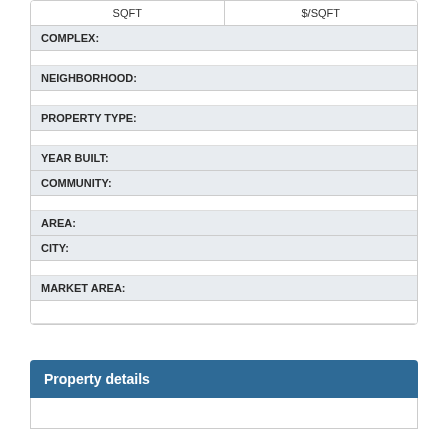| SQFT | $/SQFT |
| --- | --- |
| COMPLEX: |  |
|  |  |
| NEIGHBORHOOD: |  |
|  |  |
| PROPERTY TYPE: |  |
|  |  |
| YEAR BUILT: |  |
| COMMUNITY: |  |
|  |  |
| AREA: |  |
| CITY: |  |
|  |  |
| MARKET AREA: |  |
|  |  |
Property details